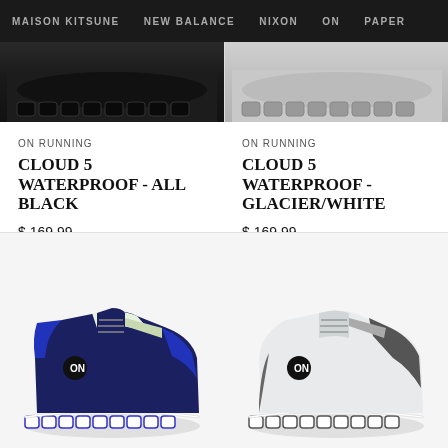MAISON KITSUNE   NEW BALANCE   NIXON   ON   PAPER
[Figure (photo): Two On Running Cloud 5 Waterproof sneaker soles visible at top — left shoe all black, right shoe glacier/white]
ON RUNNING
CLOUD 5 WATERPROOF - ALL BLACK
$ 169.99
ON RUNNING
CLOUD 5 WATERPROOF - GLACIER/WHITE
$ 169.99
[Figure (photo): On Running Cloudvista sneaker in blue/white/navy colorway, side profile view]
[Figure (photo): On Running Cloudvista sneaker in glacier/white/dark colorway, side profile view]